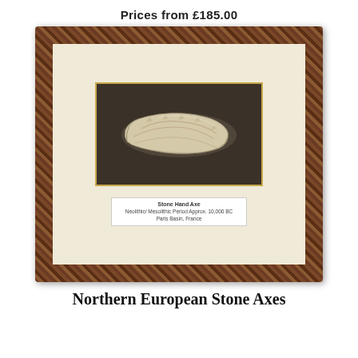Prices from £185.00
[Figure (photo): A framed stone hand axe artifact. The frame has a dark walnut burl wood finish. Inside is a cream/ivory mat with a dark brown inner display box containing a pale flint stone hand axe. Below the artifact is a label reading: Stone Hand Axe, Neolithic/ Mesolithic Period Approx. 10,000 BC, Paris Basin, France.]
Northern European Stone Axes